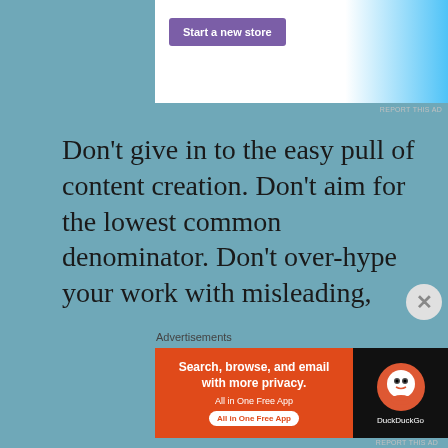[Figure (screenshot): Top advertisement banner showing 'Start a new store' button in purple on white/light blue background]
Don't give in to the easy pull of content creation. Don't aim for the lowest common denominator. Don't over-hype your work with misleading, exclamation-filled headlines. Be a writer. Craft your words with care, edit them to perfection, and if the world doesn't care, do it again. And again, and again. The world doesn't owe you an audience. As a writer, though, you owe it to yourself and to your work to actually give a damn about the quality of your writing. The word will remain long after all the content
Advertisements
[Figure (screenshot): DuckDuckGo advertisement: orange section with 'Search, browse, and email with more privacy. All in One Free App' and DuckDuckGo duck logo on dark background]